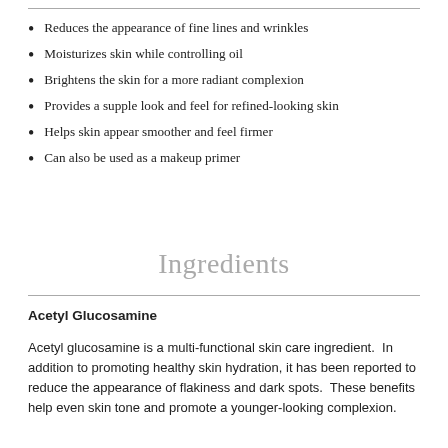Reduces the appearance of fine lines and wrinkles
Moisturizes skin while controlling oil
Brightens the skin for a more radiant complexion
Provides a supple look and feel for refined-looking skin
Helps skin appear smoother and feel firmer
Can also be used as a makeup primer
Ingredients
Acetyl Glucosamine
Acetyl glucosamine is a multi-functional skin care ingredient.  In addition to promoting healthy skin hydration, it has been reported to reduce the appearance of flakiness and dark spots.  These benefits help even skin tone and promote a younger-looking complexion.